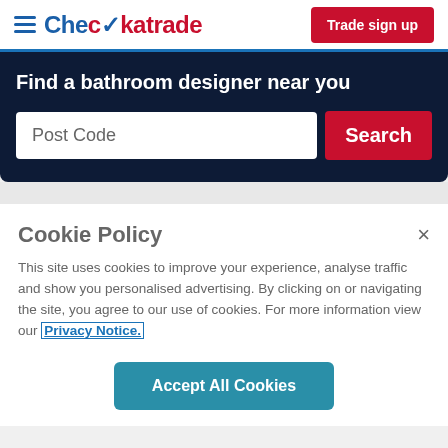Checkatrade | Trade sign up
Find a bathroom designer near you
Post Code
Cookie Policy
This site uses cookies to improve your experience, analyse traffic and show you personalised advertising. By clicking on or navigating the site, you agree to our use of cookies. For more information view our Privacy Notice.
Accept All Cookies